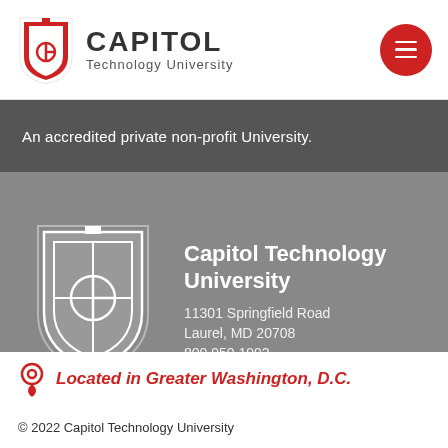[Figure (logo): Capitol Technology University shield logo with red and white design, beside bold text CAPITOL and subtitle Technology University]
An accredited private non-profit University.
[Figure (logo): White Capitol Technology University shield logo on gray background]
Capitol Technology University
11301 Springfield Road
Laurel, MD 20708
800.950.1992
Located in Greater Washington, D.C.
© 2022 Capitol Technology University